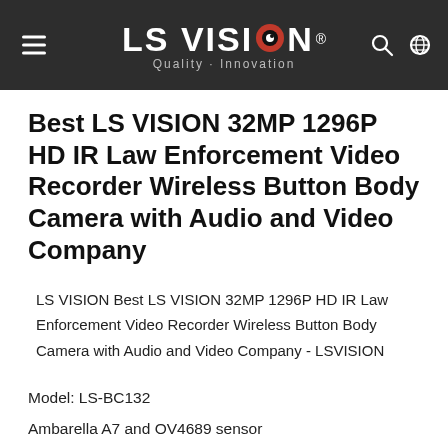LS VISION® Quality · Innovation
Best LS VISION 32MP 1296P HD IR Law Enforcement Video Recorder Wireless Button Body Camera with Audio and Video Company
LS VISION Best LS VISION 32MP 1296P HD IR Law Enforcement Video Recorder Wireless Button Body Camera with Audio and Video Company - LSVISION
Model: LS-BC132
Ambarella A7 and OV4689 sensor
Up to 2304x1296P 30fps video resolution